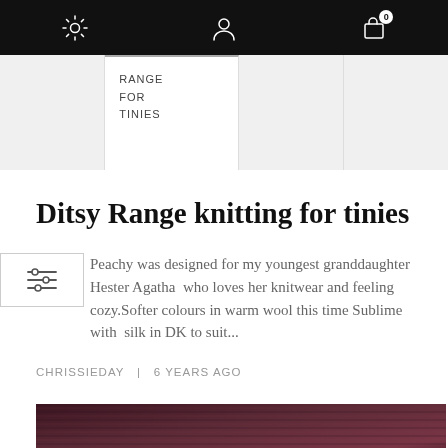Navigation bar with settings, profile, and cart (0) icons
RANGE FOR TINIES
Ditsy Range knitting for tinies
Peachy was designed for my youngest granddaughter Hester Agatha  who loves her knitwear and feeling cozy.Softer colours in warm wool this time Sublime with  silk in DK to suit...
CHRISSIEDAY  |  6 YEARS AGO
[Figure (photo): Close-up photo of dark burgundy/maroon knitted fabric with ribbed texture]